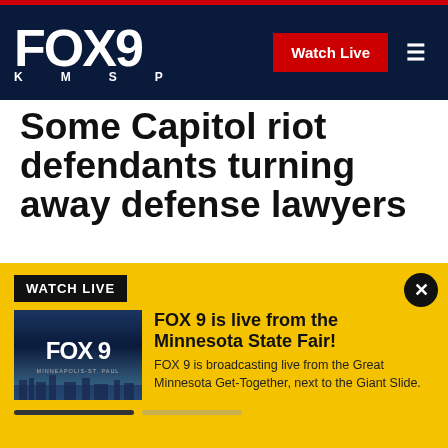FOX 9 KMSP — Watch Live
Some Capitol riot defendants turning away defense lawyers
By Michael Kunzelman and Alanna Durkin Richer | Published October 18, 2021 | News | Associated Press
[Figure (infographic): Social media share icons: Facebook, Twitter, Print, Email]
[Figure (infographic): WATCH LIVE banner with FOX 9 thumbnail image. Title: FOX 9 is live from the Minnesota State Fair! Description: FOX 9 is broadcasting live from the Great Minnesota Get-Together, next to the Giant Slide. Progress bar below.]